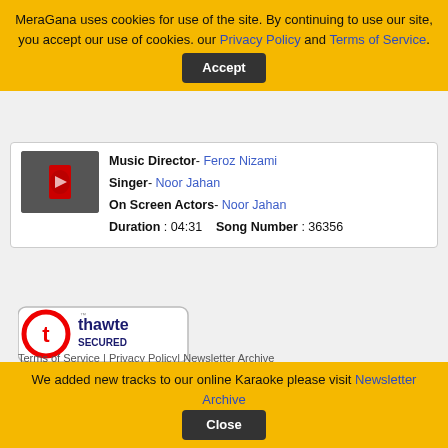MeraGana uses cookies for use of the site. By continuing to use our site, you accept our use of cookies. our Privacy Policy and Terms of Service. Accept
Music Director- Feroz Nizami
Singer- Noor Jahan
On Screen Actors- Noor Jahan
Duration : 04:31   Song Number : 36356
[Figure (logo): Thawte Secured badge with powered by DigiCert text]
[Figure (logo): Payment icons: MasterCard, VISA, 2CO, PayPal]
Terms of Service | Privacy Policy| Newsletter Archive
If you believe that any material held in by us infringes your copyright please follow the guidance in our Notice
We added new tracks to our online Karaoke please visit Newsletter Archive  Close